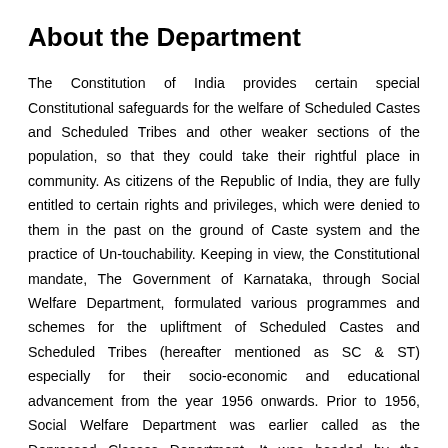About the Department
The Constitution of India provides certain special Constitutional safeguards for the welfare of Scheduled Castes and Scheduled Tribes and other weaker sections of the population, so that they could take their rightful place in community. As citizens of the Republic of India, they are fully entitled to certain rights and privileges, which were denied to them in the past on the ground of Caste system and the practice of Un-touchability. Keeping in view, the Constitutional mandate, The Government of Karnataka, through Social Welfare Department, formulated various programmes and schemes for the upliftment of Scheduled Castes and Scheduled Tribes (hereafter mentioned as SC & ST) especially for their socio-economic and educational advancement from the year 1956 onwards. Prior to 1956, Social Welfare Department was earlier called as the Depressed Classes Department. It was headed by the Commissioner for Depressed Classes along with an Additional